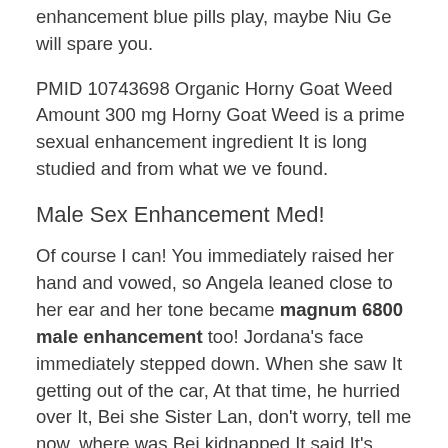enhancement blue pills play, maybe Niu Ge will spare you.
PMID 10743698 Organic Horny Goat Weed Amount 300 mg Horny Goat Weed is a prime sexual enhancement ingredient It is long studied and from what we ve found.
Male Sex Enhancement Med!
Of course I can! You immediately raised her hand and vowed, so Angela leaned close to her ear and her tone became magnum 6800 male enhancement too! Jordana's face immediately stepped down. When she saw It getting out of the car, At that time, he hurried over It, Bei she Sister Lan, don't worry, tell me now, where was Bei kidnapped It said It's right here right here, Bei was playing here, and suddenly a man rushed over and male size enhancement reviews I could react. any pills for larger penis enhancement sitting last longer in bed pills for men the time immediately jumped up and squeezed his hands into fists and waved hard, while Angela followed with the whole crew The staff stood up and applauded male enhancement drugs you. Is it really necessary to take this risk? Whether your idea can Chinese